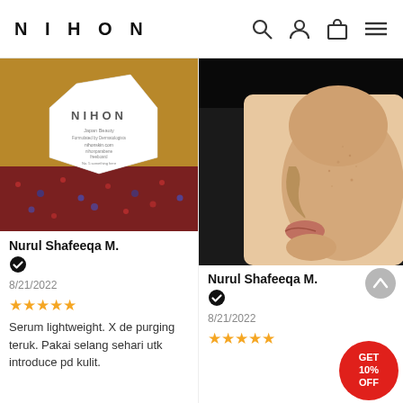NIHON
[Figure (photo): Photo of a white NIHON branded product box sitting on a colorful patterned surface inside a cardboard box. The box reads: NIHON, Japan Beauty, Formulated by Dermatologists, nihonskin.com]
Nurul Shafeeqa M.
8/21/2022
★★★★★
Serum lightweight. X de purging teruk. Pakai selang sehari utk introduce pd kulit.
[Figure (photo): Close-up side profile photo of a person's face showing cheek, nose, and lips area with blurred background at top]
Nurul Shafeeqa M.
8/21/2022
★★★★★